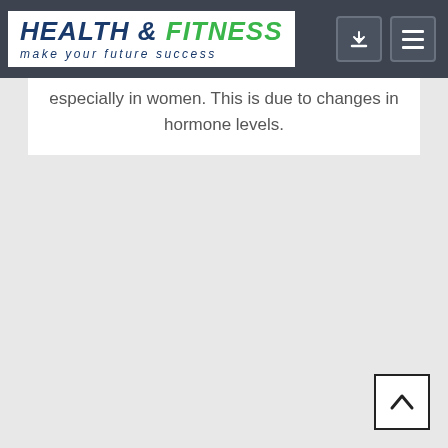[Figure (logo): Health & Fitness logo with tagline 'make your future success' in a white box, with navigation buttons on the right in a dark grey navbar]
especially in women. This is due to changes in hormone levels.